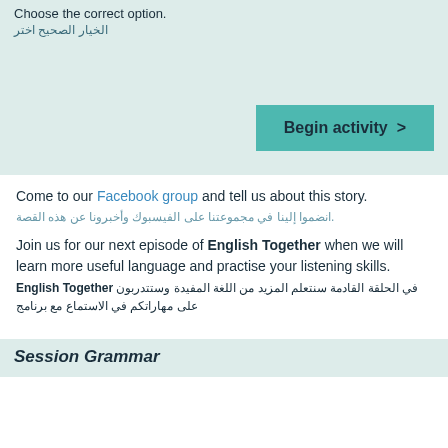Choose the correct option.
[Arabic translation text]
[Figure (other): Begin activity button in teal/green color with arrow]
Come to our Facebook group and tell us about this story.
[Arabic translation text]
Join us for our next episode of English Together when we will learn more useful language and practise your listening skills.
English Together [Arabic translation text]
Session Grammar